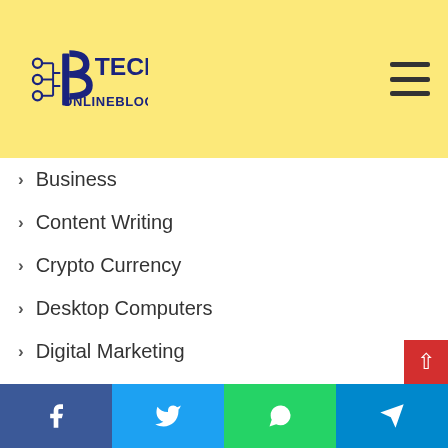B Tech Online Blog — navigation menu
Business
Content Writing
Crypto Currency
Desktop Computers
Digital Marketing
Domain Name
E-Commerce
Education
Finance
Freelancing
Games & Gaming